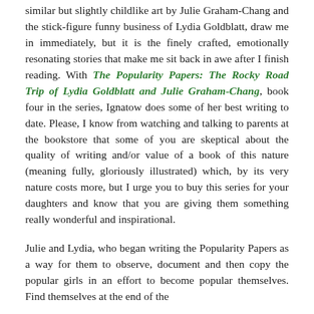similar but slightly childlike art by Julie Graham-Chang and the stick-figure funny business of Lydia Goldblatt, draw me in immediately, but it is the finely crafted, emotionally resonating stories that make me sit back in awe after I finish reading. With The Popularity Papers: The Rocky Road Trip of Lydia Goldblatt and Julie Graham-Chang, book four in the series, Ignatow does some of her best writing to date. Please, I know from watching and talking to parents at the bookstore that some of you are skeptical about the quality of writing and/or value of a book of this nature (meaning fully, gloriously illustrated) which, by its very nature costs more, but I urge you to buy this series for your daughters and know that you are giving them something really wonderful and inspirational.
Julie and Lydia, who began writing the Popularity Papers as a way for them to observe, document and then copy the popular girls in an effort to become popular themselves. Find themselves at the end of the